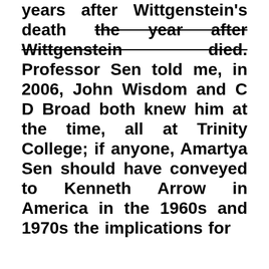years after Wittgenstein's death the year after Wittgenstein died. Professor Sen told me, in 2006, John Wisdom and C D Broad both knew him at the time, all at Trinity College; if anyone, Amartya Sen should have conveyed to Kenneth Arrow in America in the 1960s and 1970s the implications for